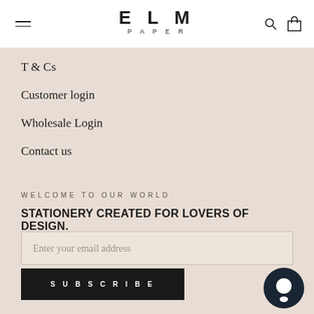ELM PAPER
T & Cs
Customer login
Wholesale Login
Contact us
WELCOME TO OUR WORLD
STATIONERY CREATED FOR LOVERS OF DESIGN.
Enter your email address
SUBSCRIBE